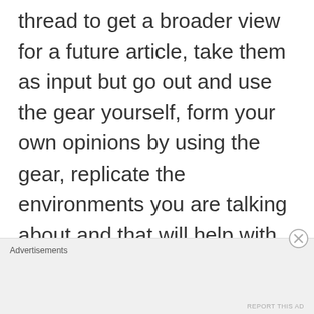thread to get a broader view for a future article, take them as input but go out and use the gear yourself, form your own opinions by using the gear, replicate the environments you are talking about and that will help with your article.
Advertisements